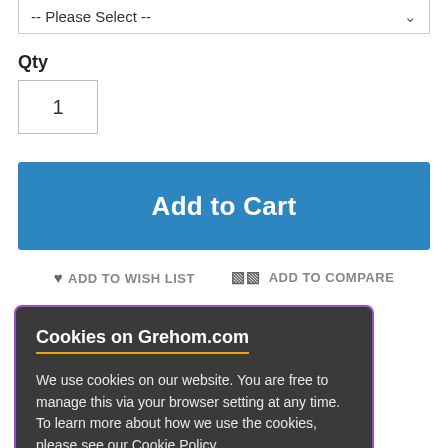-- Please Select --
Qty
1
Add to Cart
ADD TO WISH LIST   ADD TO COMPARE
ee tumblers. hand. Pick up rtaining tasting ke an excellent gift
l or minor surface ne safety, re.
Cookies on Grehom.com
We use cookies on our website. You are free to manage this via your browser setting at any time. To learn more about how we use the cookies, please see our Cookie Policy.
✓ OK
Cookie Policy